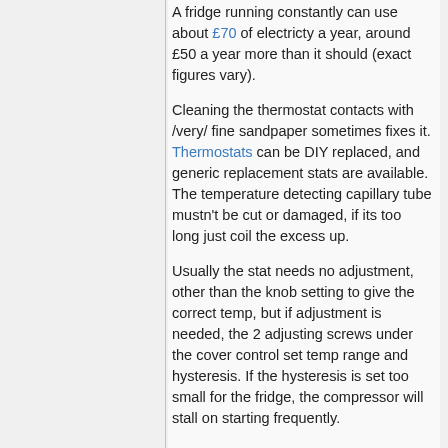A fridge running constantly can use about £70 of electricty a year, around £50 a year more than it should (exact figures vary).
Cleaning the thermostat contacts with /very/ fine sandpaper sometimes fixes it. Thermostats can be DIY replaced, and generic replacement stats are available. The temperature detecting capillary tube mustn't be cut or damaged, if its too long just coil the excess up.
Usually the stat needs no adjustment, other than the knob setting to give the correct temp, but if adjustment is needed, the 2 adjusting screws under the cover control set temp range and hysteresis. If the hysteresis is set too small for the fridge, the compressor will stall on starting frequently.